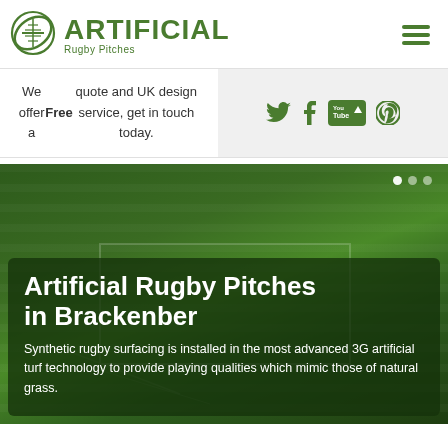ARTIFICIAL Rugby Pitches
We offer a Free quote and UK design service, get in touch today.
[Figure (screenshot): Social media icons: Twitter, Tumblr, YouTube, Pinterest in green on grey background]
[Figure (photo): Artificial rugby pitch with green synthetic turf and stadium lights in background. Overlay text: 'Artificial Rugby Pitches in Brackenber - Synthetic rugby surfacing is installed in the most advanced 3G artificial turf technology to provide playing qualities which mimic those of natural grass.']
Artificial Rugby Pitches in Brackenber
Synthetic rugby surfacing is installed in the most advanced 3G artificial turf technology to provide playing qualities which mimic those of natural grass.